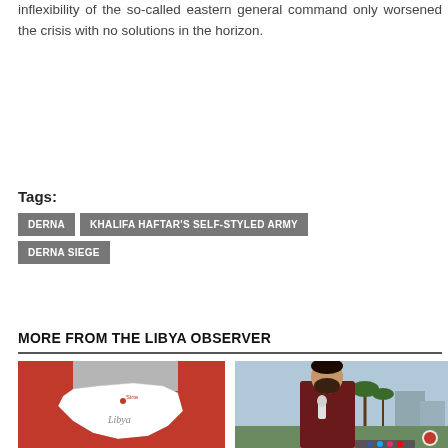inflexibility of the so-called eastern general command only worsened the crisis with no solutions in the horizon.
Tags:
DERNA
KHALIFA HAFTAR'S SELF-STYLED ARMY
DERNA SIEGE
MORE FROM THE LIBYA OBSERVER
[Figure (map): Map showing Libya highlighted in white against a red background representing surrounding region]
[Figure (photo): Man in dark red shirt holding a microphone, standing outdoors with palm trees and buildings in background]